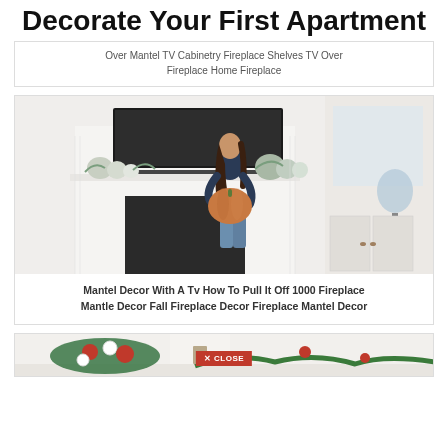Decorate Your First Apartment
Over Mantel TV Cabinetry Fireplace Shelves TV Over Fireplace Home Fireplace
[Figure (photo): Woman holding a pumpkin in front of a white shiplap fireplace decorated with pumpkins and greenery, with a TV mounted above]
Mantel Decor With A Tv How To Pull It Off 1000 Fireplace Mantle Decor Fall Fireplace Decor Fireplace Mantel Decor
[Figure (photo): Partial view of a Christmas/holiday decorated fireplace mantel with red and white flowers and garland greenery, with a red CLOSE button overlay]